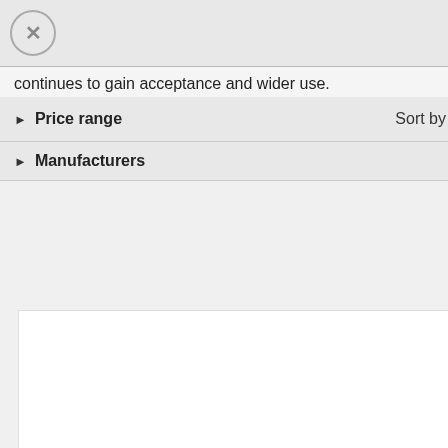close
continues to gain acceptance and wider use.
▶ Price range
Sort by  Position
▶ Manufacturers
[Figure (photo): An open cardboard box filled with small brown vials/bottles arranged in rows, with a single small vial/dropper bottle visible separately to the right of the box]